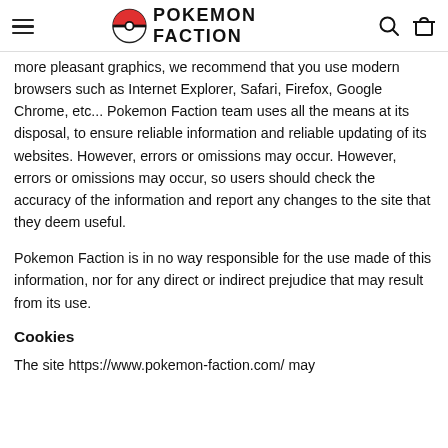POKEMON FACTION
more pleasant graphics, we recommend that you use modern browsers such as Internet Explorer, Safari, Firefox, Google Chrome, etc... Pokemon Faction team uses all the means at its disposal, to ensure reliable information and reliable updating of its websites. However, errors or omissions may occur. However, errors or omissions may occur, so users should check the accuracy of the information and report any changes to the site that they deem useful.
Pokemon Faction is in no way responsible for the use made of this information, nor for any direct or indirect prejudice that may result from its use.
Cookies
The site https://www.pokemon-faction.com/ may